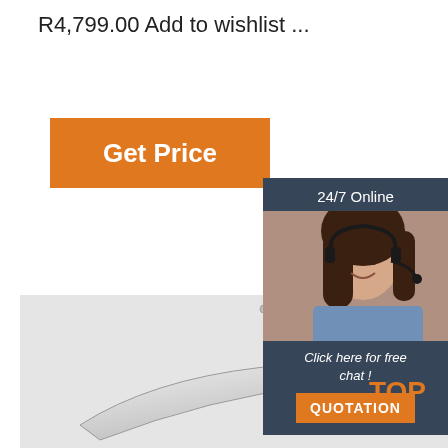R4,799.00 Add to wishlist ...
[Figure (other): Orange 'Get Price' button]
[Figure (photo): Stainless steel chafing dish with roll-top lid open, showing two food compartments with pasta and broccoli/meat dishes]
[Figure (other): 24/7 Online chat widget with woman wearing headset, 'Click here for free chat!' text, and orange QUOTATION button]
TOP